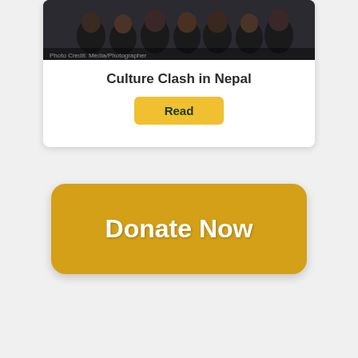[Figure (photo): Group photo of several young men smiling and posing together, wearing dark shirts]
Culture Clash in Nepal
Read
Donate Now